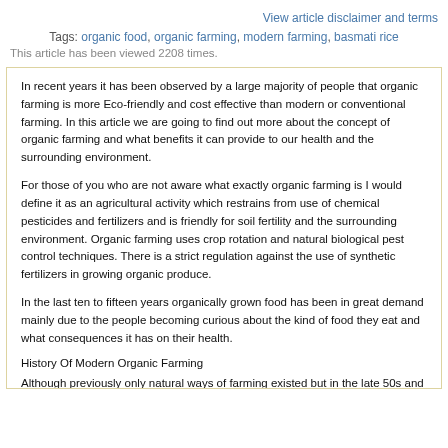View article disclaimer and terms
Tags: organic food, organic farming, modern farming, basmati rice
This article has been viewed 2208 times.
In recent years it has been observed by a large majority of people that organic farming is more Eco-friendly and cost effective than modern or conventional farming.  In this article we are going to find out more about the concept of organic farming  and what benefits it can provide to our health and the surrounding environment.
For those of you who are not aware what exactly organic farming is I would define it as an agricultural activity which restrains from use of chemical pesticides and fertilizers and is friendly for soil fertility and the surrounding environment. Organic farming uses crop rotation and natural biological pest control techniques. There is a strict regulation against the use of synthetic fertilizers in growing organic produce.
In the last ten to fifteen years  organically grown food has been in great demand mainly due to the people becoming curious about the kind of food they eat and what consequences it has on their health.
History Of Modern Organic Farming
Although previously only natural ways of farming existed but in the late 50s and 60s the use of fertilizers and pesticides came into use in order to increase the crop yield. Although these new synthetic fertilizers did increase the crop production but they turned out to be harmful for human body as well as for the surrounding environment. The diseases which were caused due to the use of these fertilizers led to people questioning the use of these pesticides and fertilizers and led to anti-synthetic fertilizer movement leading